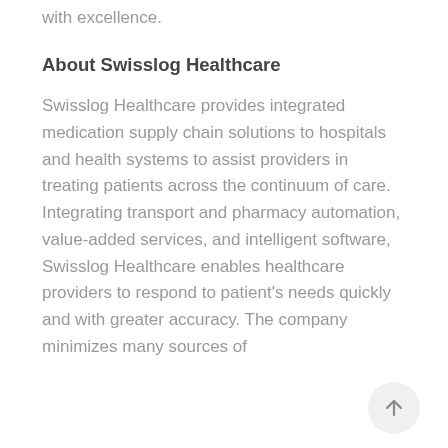with excellence.
About Swisslog Healthcare
Swisslog Healthcare provides integrated medication supply chain solutions to hospitals and health systems to assist providers in treating patients across the continuum of care. Integrating transport and pharmacy automation, value-added services, and intelligent software, Swisslog Healthcare enables healthcare providers to respond to patient's needs quickly and with greater accuracy. The company minimizes many sources of